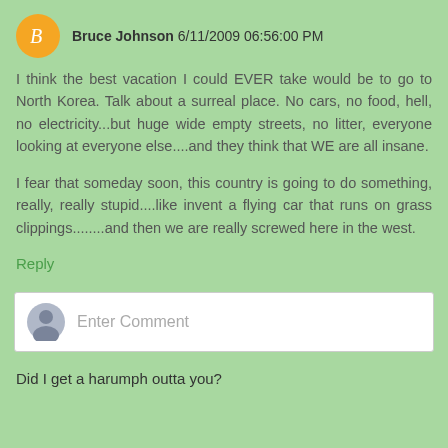Bruce Johnson 6/11/2009 06:56:00 PM
I think the best vacation I could EVER take would be to go to North Korea. Talk about a surreal place. No cars, no food, hell, no electricity...but huge wide empty streets, no litter, everyone looking at everyone else....and they think that WE are all insane.
I fear that someday soon, this country is going to do something, really, really stupid....like invent a flying car that runs on grass clippings........and then we are really screwed here in the west.
Reply
[Figure (screenshot): Enter Comment text input box with a small grey avatar icon on the left]
Did I get a harumph outta you?